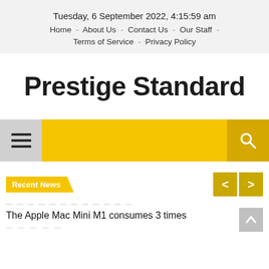Tuesday, 6 September 2022, 4:15:59 am
Home - About Us - Contact Us - Our Staff - Terms of Service - Privacy Policy
Prestige Standard
[Figure (screenshot): Yellow navigation bar with hamburger menu icon on left (gray background), yellow center area, and search icon on right (darker yellow background)]
Recent News
The Apple Mac Mini M1 consumes 3 times